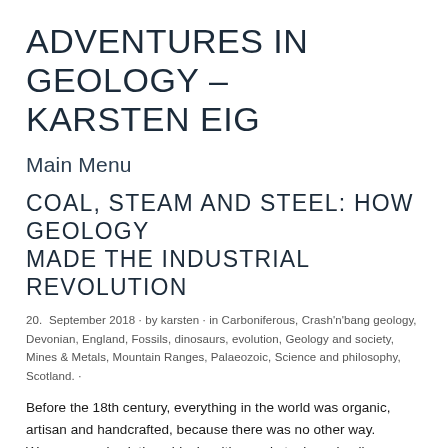ADVENTURES IN GEOLOGY – KARSTEN EIG
Main Menu
COAL, STEAM AND STEEL: HOW GEOLOGY MADE THE INDUSTRIAL REVOLUTION
20. September 2018 · by karsten · in Carboniferous, Crash'n'bang geology, Devonian, England, Fossils, dinosaurs, evolution, Geology and society, Mines & Metals, Mountain Ranges, Palaeozoic, Science and philosophy, Scotland. ·
Before the 18th century, everything in the world was organic, artisan and handcrafted, because there was no other way. Weavers made clothes, blacksmiths made tools and nails, farmers went behind the plough.
This is not to say that the world stood still. Compare your image of the